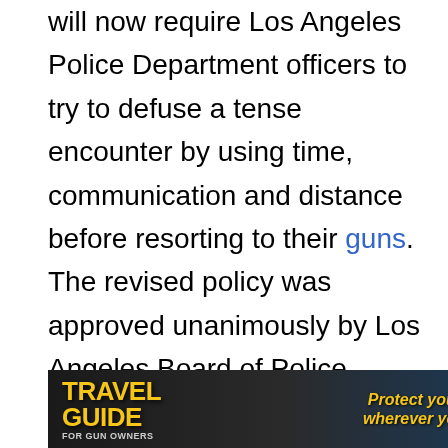will now require Los Angeles Police Department officers to try to defuse a tense encounter by using time, communication and distance before resorting to their guns. The revised policy was approved unanimously by Los Angeles Board of Police Commissioners. 'This will not stop every instance of officer-involved shootings, but used correctly over time, it will,' said Los Angeles Police Chief Charlie Beck. 'The point of all of this is trying to create a likelihood of outcomes of success and then applying over a period of time.'"
[Figure (infographic): Advertisement banner for Travel Guide for Gun Owners featuring U.S. LawShield with text 'Protect yourself wherever you go.' with orange arrow graphics on a dark background]